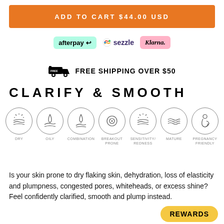ADD TO CART $44.00 USD
[Figure (logo): Payment method logos: afterpay, sezzle, Klarna]
FREE SHIPPING OVER $50
CLARIFY & SMOOTH
[Figure (infographic): Seven skin type icons in circles: DRY, OILY, COMBINATION, BREAKOUT PRONE, SENSITIVITY/REDNESS, MATURE, PREGNANCY FRIENDLY]
Is your skin prone to dry flaking skin, dehydration, loss of elasticity and plumpness, congested pores, whiteheads, or excess shine? Feel confidently clarified, smooth and plump instead.
REWARDS